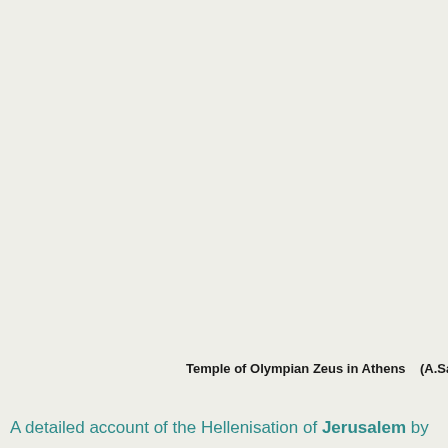Temple of Olympian Zeus in Athens   (A.Sav
A detailed account of the Hellenisation of Jerusalem by